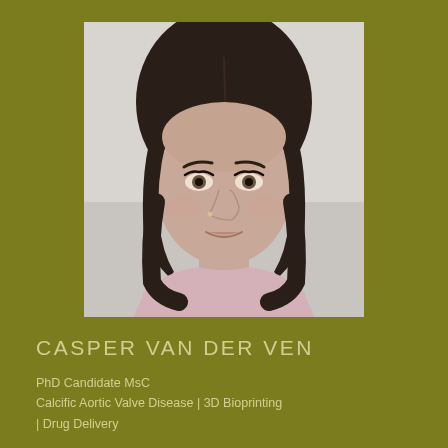[Figure (photo): Portrait photo of a young woman with dark shoulder-length hair, light skin, small nose piercing, wearing a light pink top, photographed against a light background.]
CASPER VAN DER VEN
PhD Candidate MsC
Calcific Aortic Valve Disease | 3D Bioprinting
| Drug Delivery